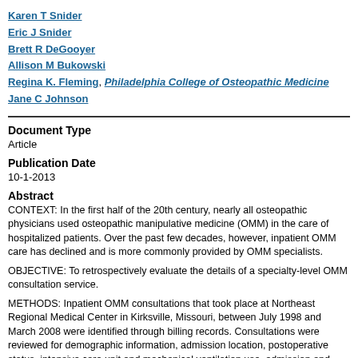Karen T Snider
Eric J Snider
Brett R DeGooyer
Allison M Bukowski
Regina K. Fleming, Philadelphia College of Osteopathic Medicine
Jane C Johnson
Document Type
Article
Publication Date
10-1-2013
Abstract
CONTEXT: In the first half of the 20th century, nearly all osteopathic physicians used osteopathic manipulative medicine (OMM) in the care of hospitalized patients. Over the past few decades, however, inpatient OMM care has declined and is more commonly provided by OMM specialists.
OBJECTIVE: To retrospectively evaluate the details of a specialty-level OMM consultation service.
METHODS: Inpatient OMM consultations that took place at Northeast Regional Medical Center in Kirksville, Missouri, between July 1998 and March 2008 were identified through billing records. Consultations were reviewed for demographic information, admission location, postoperative status, intensive care unit and mechanical ventilation use, admission and discharge diagnoses, consultation reasons and final diagnoses of somatic dysfunction treated and types of osteopathic manipulative treatment (O...